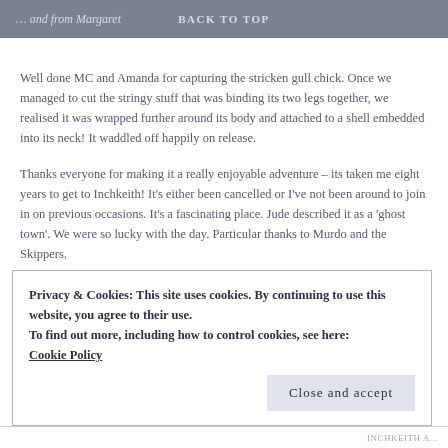… and from Margaret | BACK TO TOP
Well done MC and Amanda for capturing the stricken gull chick. Once we managed to cut the stringy stuff that was binding its two legs together, we realised it was wrapped further around its body and attached to a shell embedded into its neck! It waddled off happily on release.
Thanks everyone for making it a really enjoyable adventure – its taken me eight years to get to Inchkeith! It's either been cancelled or I've not been around to join in on previous occasions. It's a fascinating place. Jude described it as a 'ghost town'. We were so lucky with the day. Particular thanks to Murdo and the Skippers.
Privacy & Cookies: This site uses cookies. By continuing to use this website, you agree to their use.
To find out more, including how to control cookies, see here:
Cookie Policy
Close and accept